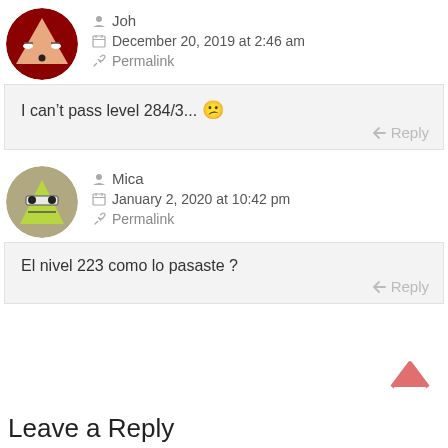Joh
December 20, 2019 at 2:46 am
Permalink
I can't pass level 284/3... 🙁
Reply
Mica
January 2, 2020 at 10:42 pm
Permalink
El nivel 223 como lo pasaste ?
Reply
Leave a Reply